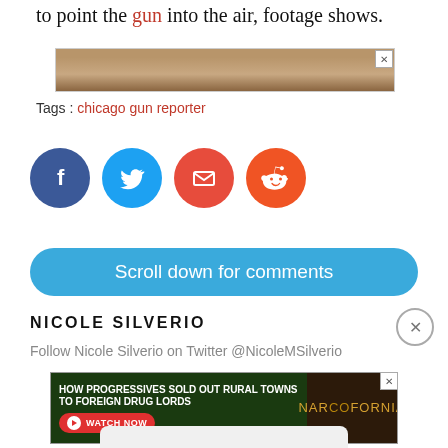to point the gun into the air, footage shows.
[Figure (photo): Advertisement banner showing eyeglasses close-up with X close button]
Tags : chicago gun reporter
[Figure (infographic): Social sharing icons: Facebook (blue), Twitter (light blue), Email (red), Reddit (orange-red)]
Scroll down for comments
NICOLE SILVERIO
Follow Nicole Silverio on Twitter @NicoleMSilverio
[Figure (photo): Advertisement: How Progressives Sold Out Rural Towns to Foreign Drug Lords - Narcofornia - Watch Now]